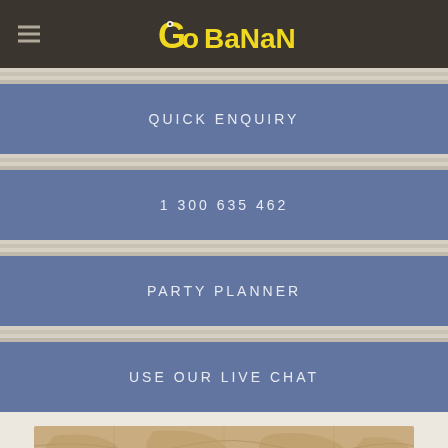Go Bananas - navigation bar with logo and hamburger menu
QUICK ENQUIRY
1 300 635 462
PARTY PLANNER
USE OUR LIVE CHAT
[Figure (photo): Old antique world map background image with 'AMAZING RACE IN' text overlay on a teal/blue-green banner at the bottom]